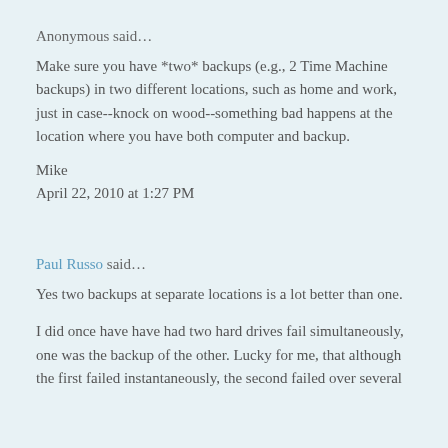Anonymous said…
Make sure you have *two* backups (e.g., 2 Time Machine backups) in two different locations, such as home and work, just in case--knock on wood--something bad happens at the location where you have both computer and backup.
Mike
April 22, 2010 at 1:27 PM
Paul Russo said…
Yes two backups at separate locations is a lot better than one.
I did once have have had two hard drives fail simultaneously, one was the backup of the other. Lucky for me, that although the first failed instantaneously, the second failed over several